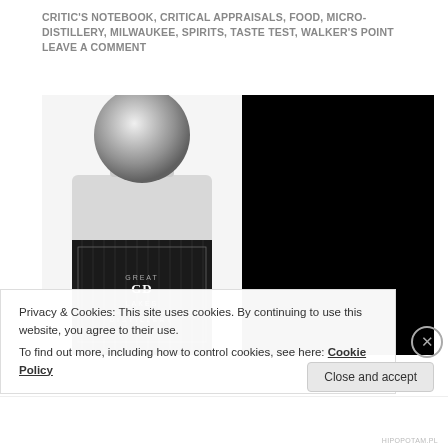CRITIC'S NOTEBOOK, CRITICAL APPRAISALS, FOOD, MICRO-DISTILLERY, MILWAUKEE, SPIRITS, TASTE TEST, WALKER'S POINT LEAVE A COMMENT
[Figure (photo): A bottle of Great Lakes Distillery spirits with a silver/chrome rounded top and a dark label with vertical stripes. Label reads 'GREAT LAKES DISTILLERY'. Next to it is a solid black rectangular panel.]
Privacy & Cookies: This site uses cookies. By continuing to use this website, you agree to their use.
To find out more, including how to control cookies, see here: Cookie Policy
Close and accept